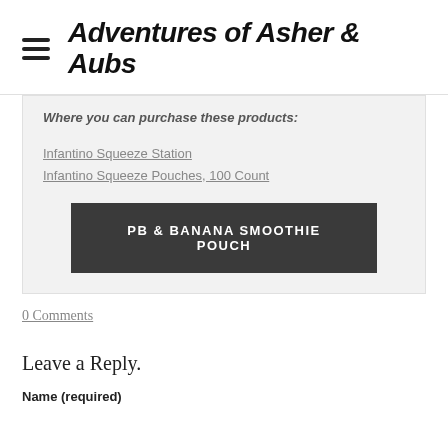Adventures of Asher & Aubs
Where you can purchase these products:
Infantino Squeeze Station
Infantino Squeeze Pouches, 100 Count
PB & BANANA SMOOTHIE POUCH
0 Comments
Leave a Reply.
Name (required)